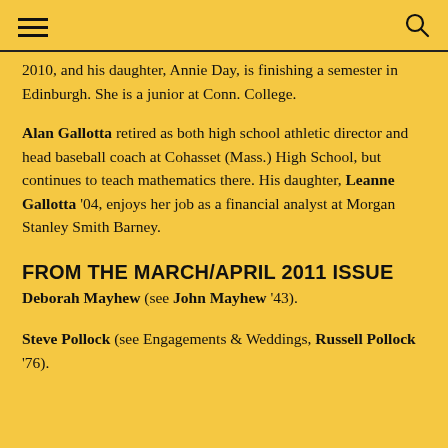2010, and his daughter, Annie Day, is finishing a semester in Edinburgh. She is a junior at Conn. College.
Alan Gallotta retired as both high school athletic director and head baseball coach at Cohasset (Mass.) High School, but continues to teach mathematics there. His daughter, Leanne Gallotta '04, enjoys her job as a financial analyst at Morgan Stanley Smith Barney.
FROM THE MARCH/APRIL 2011 ISSUE
Deborah Mayhew (see John Mayhew '43).
Steve Pollock (see Engagements & Weddings, Russell Pollock '76).